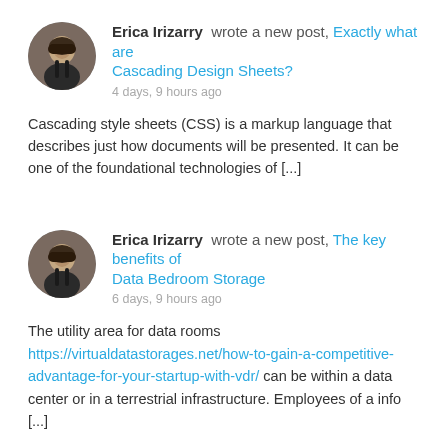Erica Irizarry wrote a new post, Exactly what are Cascading Design Sheets? 4 days, 9 hours ago
Cascading style sheets (CSS) is a markup language that describes just how documents will be presented. It can be one of the foundational technologies of [...]
Erica Irizarry wrote a new post, The key benefits of Data Bedroom Storage 6 days, 9 hours ago
The utility area for data rooms https://virtualdatastorages.net/how-to-gain-a-competitive-advantage-for-your-startup-with-vdr/ can be within a data center or in a terrestrial infrastructure. Employees of a info [...]